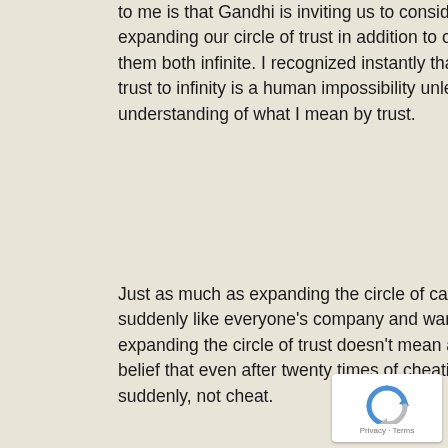to me is that Gandhi is inviting us to consider the possibility of expanding our circle of trust in addition to our circle of care, making them both infinite. I recognized instantly that expanding the circle of trust to infinity is a human impossibility unless I change my understanding of what I mean by trust.
Just as much as expanding the circle of care doesn't mean we suddenly like everyone's company and want to be their best friends, expanding the circle of trust doesn't mean anything like a Pollyanna belief that even after twenty times of cheating the person would, suddenly, not cheat.